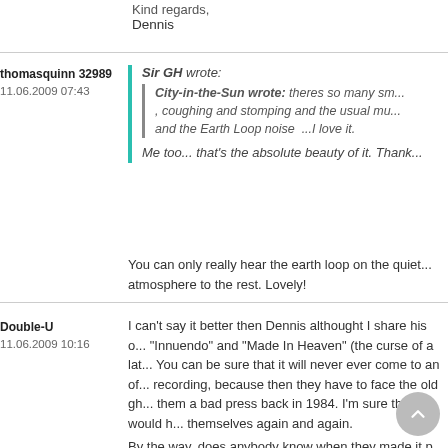Kind regards,
Dennis
thomasquinn 32989
11.06.2009 07:43
Sir GH wrote:
City-in-the-Sun wrote: theres so many sm..., coughing and stomping and the usual mu... and the Earth Loop noise ...I love it.
Me too... that's the absolute beauty of it. Thank...
You can only really hear the earth loop on the quiet... atmosphere to the rest. Lovely!
Double-U
11.06.2009 10:16
I can't say it better then Dennis althought I share his o... "Innuendo" and "Made In Heaven" (the curse of a lat... You can be sure that it will never ever come to an of... recording, because then they have to face the old gh... them a bad press back in 1984. I'm sure they would h... themselves again and again.
By the way, does anybody know when they made it p... play Sun City? In my books I found different contents...